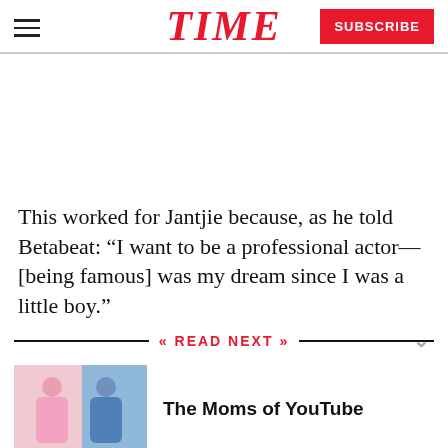TIME
This worked for Jantjie because, as he told Betabeat: “I want to be a professional actor—[being famous] was my dream since I was a little boy.”
READ NEXT
The Moms of YouTube